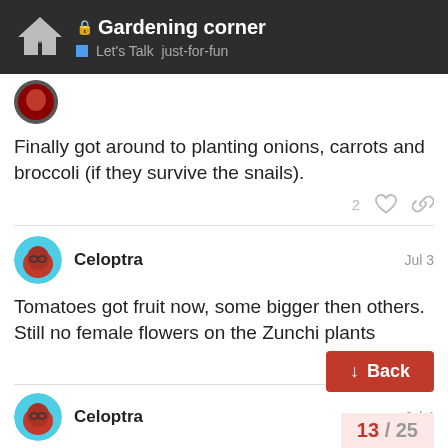Gardening corner — Let's Talk just-for-fun
[Figure (photo): Partial user avatar at top of page]
Finally got around to planting onions, carrots and broccoli (if they survive the snails).
2 likes and share icons
Celoptra — Jul 3
Tomatoes got fruit now, some bigger then others. Still no female flowers on the Zunchi plants
Celoptra — Jul 4
Back button — 13 / 25